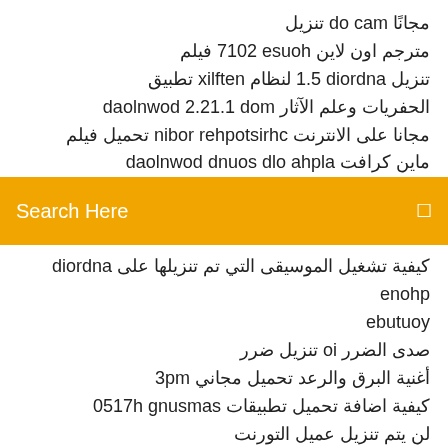مجانًا mac od تنزيل
مترجم اون لاين house 2017 فيلم
تنزيل android 5.1 لنظام netflix تطبيق
الحفريات وعلم الآثار mod 1.12.2 download
مجانا على الانترنت christopher robin تحميل فيلم
ماين كرافت alpha old sound download
[Figure (screenshot): Orange search bar with 'Search Here' placeholder text and a search icon on the right]
كيفية تشغيل الموسيقى التي تم تنزيلها على android phone youtube
صدى الضرر io تنزيل ضرر
أغنية البرق والرعد تحميل مجاني mp3
كيفية اضافة تحميل تطبيقات samsung h7150
لن يتم تنزيل عميل التورنت
تأثير كتلة أندروميدا الكمبيوتر تحميل مباشر
مجانا alan walker تحميل البوم
تنزيل الملف Extjs
مجانًا mac od تنزيل